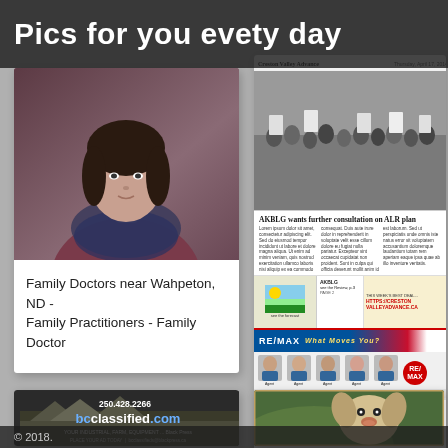Pics for you evety day
[Figure (photo): Portrait photo of a woman with a scarf/shawl]
Family Doctors near Wahpeton, ND - Family Practitioners - Family Doctor
[Figure (photo): Newspaper front page - Creston Valley Advance, showing protest photo and headline 'AKBLG wants further consultation on ALR plan', with RE/MAX advertisement below]
Creston Valley Advance, April 17, 2014 by Black Press Media Group ...
[Figure (screenshot): BC Classified advertisement with phone number 250.428.2266 and bcclassified.com branding]
[Figure (photo): Close-up photo of a dog face]
© 2018.